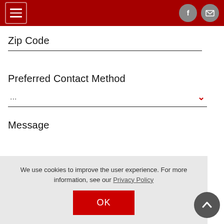Navigation header with hamburger menu, Facebook icon, and email icon on red background
Zip Code
Preferred Contact Method
...
Message
We use cookies to improve the user experience. For more information, see our Privacy Policy
OK